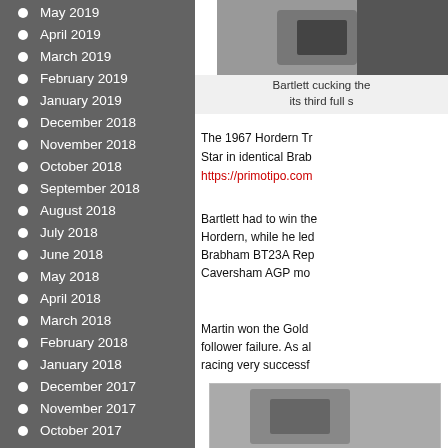May 2019
April 2019
March 2019
February 2019
January 2019
December 2018
November 2018
October 2018
September 2018
August 2018
July 2018
June 2018
May 2018
April 2018
March 2018
February 2018
January 2018
December 2017
November 2017
October 2017
September 2017
[Figure (photo): Black and white photo at top right, partially cropped]
Bartlett cucking the... its third full s...
The 1967 Hordern Tr...
Star in identical Brab...
https://primotipo.com...
Bartlett had to win the... Hordern, while he led... Brabham BT23A Rep... Caversham AGP mo...
Martin won the Gold... follower failure. As al... racing very successf...
[Figure (photo): Black and white photo at bottom right, partially visible]